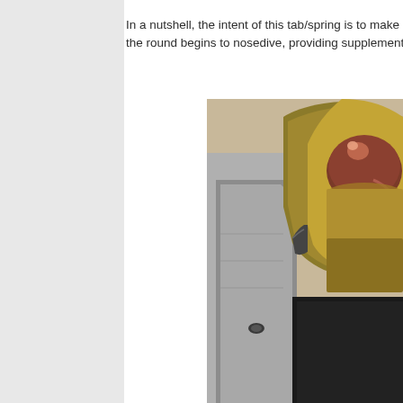In a nutshell, the intent of this tab/spring is to make contact with the round begins to nosedive, providing supplemental support and
[Figure (photo): Close-up photograph of a bullet/round and magazine feed components showing a copper-jacketed bullet seated in a metallic magazine with a feed lip tab/spring mechanism visible.]